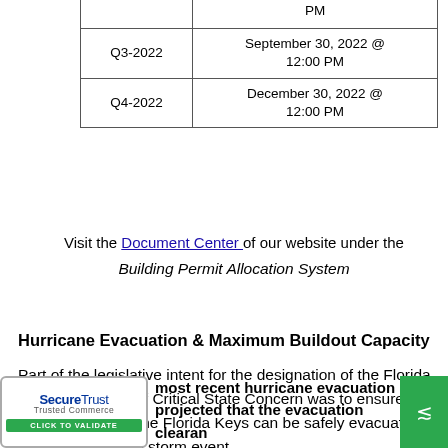| Quarter | Deadline |
| --- | --- |
| Q3-2022 | September 30, 2022 @ 12:00 PM |
| Q4-2022 | December 30, 2022 @ 12:00 PM |
Visit the Document Center of our website under the Building Permit Allocation System
Hurricane Evacuation & Maximum Buildout Capacity
Part of the legislative intent for the designation of the Florida Keys as an Area of Critical State Concern was to ensure that the population of the Florida Keys can be safely evacuated before a hurricane storm event.
[Figure (logo): SecureTrust Trusted Commerce - Click to Validate badge]
most recent hurricane evacuation projected that the evacuation clearance